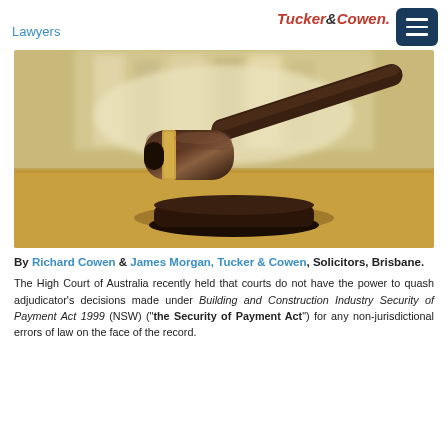Lawyers | Tucker&Cowen.
[Figure (photo): A judge's wooden gavel resting on a sound block on a wooden table, with an open law book blurred in the background.]
By Richard Cowen & James Morgan, Tucker & Cowen, Solicitors, Brisbane.
The High Court of Australia recently held that courts do not have the power to quash adjudicator's decisions made under Building and Construction Industry Security of Payment Act 1999 (NSW) ("the Security of Payment Act") for any non-jurisdictional errors of law on the face of the record.